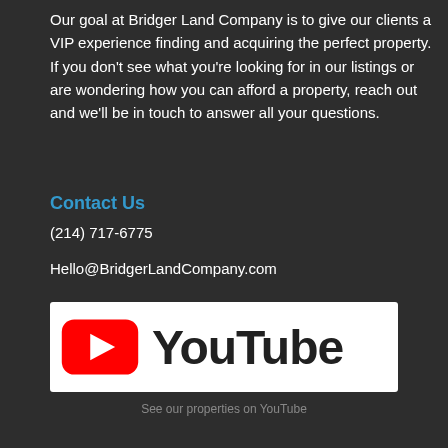Our goal at Bridger Land Company is to give our clients a VIP experience finding and acquiring the perfect property. If you don't see what you're looking for in our listings or are wondering how you can afford a property, reach out and we'll be in touch to answer all your questions.
Contact Us
(214) 717-6775
Hello@BridgerLandCompany.com
[Figure (logo): YouTube logo with red play button icon and YouTube wordmark in dark text on white background]
See our properties on YouTube